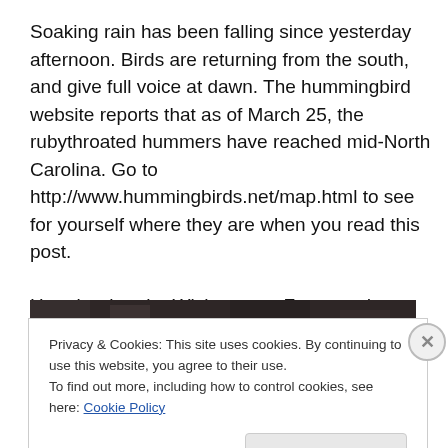Soaking rain has been falling since yesterday afternoon. Birds are returning from the south, and give full voice at dawn. The hummingbird website reports that as of March 25, the rubythroated hummers have reached mid-North Carolina. Go to http://www.hummingbirds.net/map.html to see for yourself where they are when you read this post.

Here is what the Wishetwurra Farm garden looked like a day and a half ago.
[Figure (photo): Dark photo strip showing garden scene at Wishetwurra Farm]
Privacy & Cookies: This site uses cookies. By continuing to use this website, you agree to their use.
To find out more, including how to control cookies, see here: Cookie Policy

Close and accept